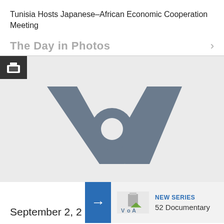Tunisia Hosts Japanese–African Economic Cooperation Meeting
The Day in Photos
[Figure (photo): VOA (Voice of America) logo placeholder image on light grey background with a gallery/briefcase icon in top-left corner]
September 2, 2
[Figure (logo): VOA logo with NEW SERIES label and 52 Documentary text in a promotional block with blue arrow]
NEW SERIES
52 Documentary